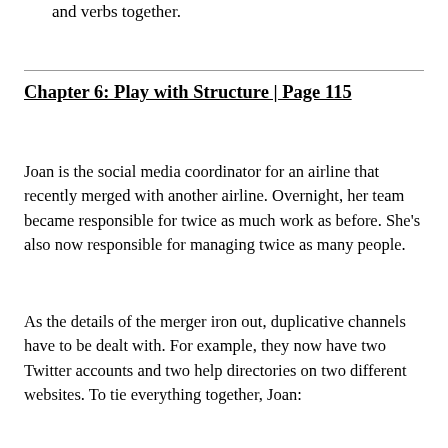and verbs together.
Chapter 6: Play with Structure | Page 115
Joan is the social media coordinator for an airline that recently merged with another airline. Overnight, her team became responsible for twice as much work as before. She's also now responsible for managing twice as many people.
As the details of the merger iron out, duplicative channels have to be dealt with. For example, they now have two Twitter accounts and two help directories on two different websites. To tie everything together, Joan: